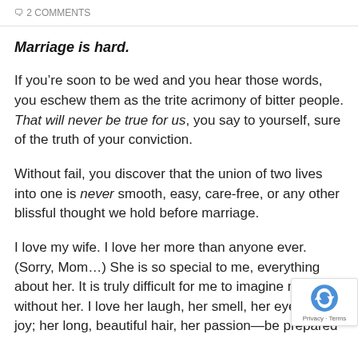2 COMMENTS
Marriage is hard.
If you’re soon to be wed and you hear those words, you eschew them as the trite acrimony of bitter people. That will never be true for us, you say to yourself, sure of the truth of your conviction.
Without fail, you discover that the union of two lives into one is never smooth, easy, care-free, or any other blissful thought we hold before marriage.
I love my wife. I love her more than anyone ever. (Sorry, Mom…) She is so special to me, everything about her. It is truly difficult for me to imagine my life without her. I love her laugh, her smell, her eyes, her joy; her long, beautiful hair, her passion—be prepared